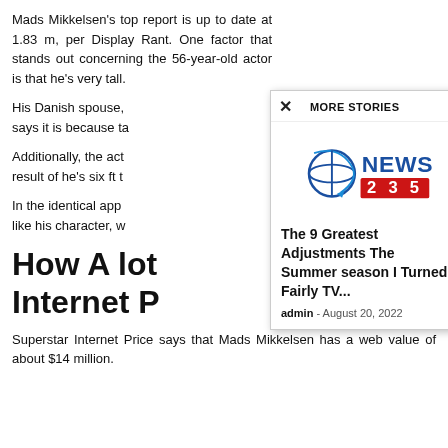Mads Mikkelsen's top report is up to date at 1.83 m, per Display Rant. One factor that stands out concerning the 56-year-old actor is that he's very tall.
His Danish spouse, says it is because ta
Additionally, the act result of he's six ft t
In the identical app like his character, w
How A lot Internet P
[Figure (screenshot): Modal popup with 'MORE STORIES' header, close button (x), News 235 logo, article title 'The 9 Greatest Adjustments The Summer season I Turned Fairly TV...' by admin on August 20, 2022]
Superstar Internet Price says that Mads Mikkelsen has a web value of about $14 million.